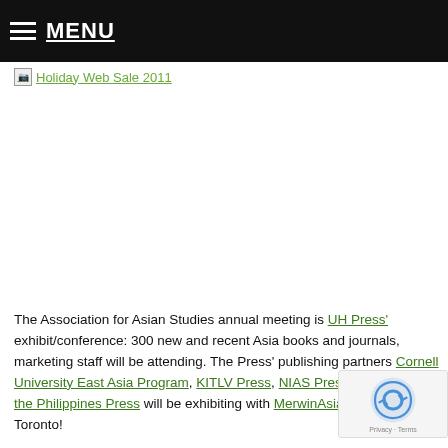MENU
[Figure (screenshot): Broken image link labeled 'Holiday Web Sale 2011']
The Association for Asian Studies annual meeting is UH Press' exhibit/conference: 300 new and recent Asia books and journals, marketing staff will be attending. The Press' publishing partners Cornell University East Asia Program, KITLV Press, NIAS Press, University of the Philippines Press will be exhibiting with MerwinAsia. See you in Toronto!